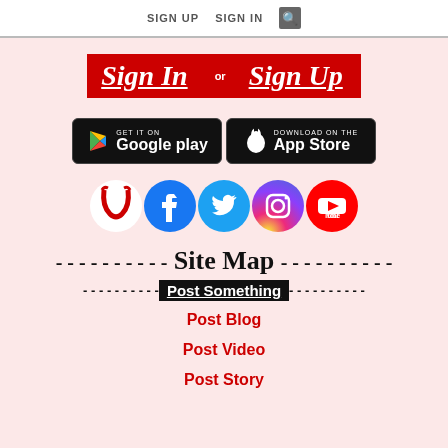SIGN UP   SIGN IN   🔍
[Figure (infographic): Sign In or Sign Up banner with red background, italic underlined text]
[Figure (infographic): Google Play and Apple App Store download badges]
[Figure (infographic): Social media icons: stylized U logo, Facebook, Twitter, Instagram, YouTube]
----------Site Map----------
----------Post Something----------
Post Blog
Post Video
Post Story